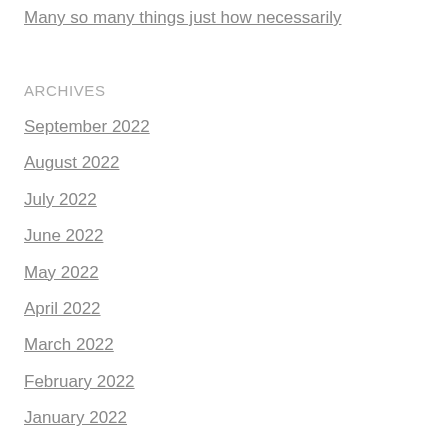Many so many things just how necessarily
ARCHIVES
September 2022
August 2022
July 2022
June 2022
May 2022
April 2022
March 2022
February 2022
January 2022
December 2021